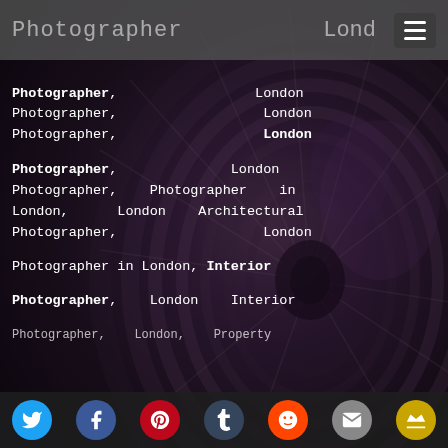Photographer,   London
[Figure (photo): Close-up spiral staircase with purple/dark tones, blurred background photograph]
Photographer, London Photographer, London Photographer, London Photographer, London Photographer, Photographer in London, London Architectural Photographer, London Photographer in London, Interior Photographer, London Interior Photographer, London Property
Social share icons: Twitter, Facebook, Pinterest, Tumblr, Reddit, Email, Crown